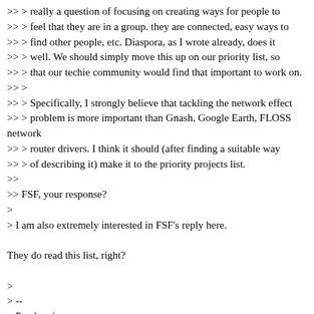>> > really a question of focusing on creating ways for people to
>> > feel that they are in a group. they are connected, easy ways to
>> > find other people, etc. Diaspora, as I wrote already, does it
>> > well. We should simply move this up on our priority list, so
>> > that our techie community would find that important to work on.
>> >
>> > Specifically, I strongly believe that tackling the network effect
>> > problem is more important than Gnash, Google Earth, FLOSS network
>> > router drivers. I think it should (after finding a suitable way
>> > of describing it) make it to the priority projects list.
>>
>> FSF, your response?
>
> I am also extremely interested in FSF's reply here.

They do read this list, right?

>
> --
> Pozdrawiam
> Michał "rysiek" Woźniak